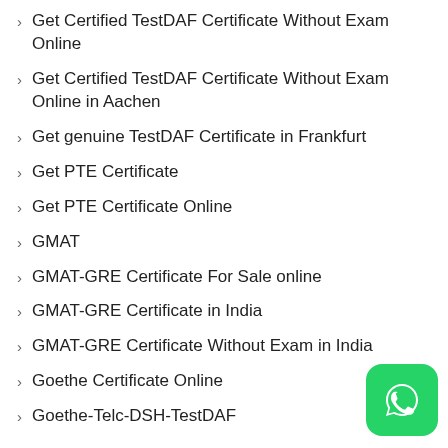Get Certified TestDAF Certificate Without Exam Online
Get Certified TestDAF Certificate Without Exam Online in Aachen
Get genuine TestDAF Certificate in Frankfurt
Get PTE Certificate
Get PTE Certificate Online
GMAT
GMAT-GRE Certificate For Sale online
GMAT-GRE Certificate in India
GMAT-GRE Certificate Without Exam in India
Goethe Certificate Online
Goethe-Telc-DSH-TestDAF